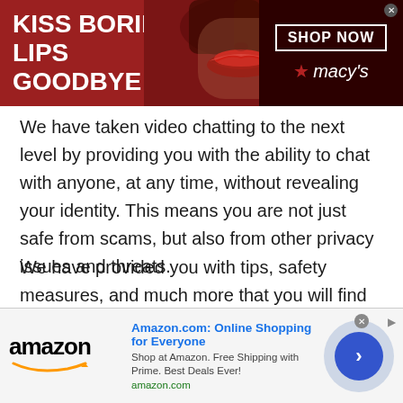[Figure (screenshot): Macy's advertisement banner with red background. Left side shows bold white text 'KISS BORING LIPS GOODBYE'. Center shows a woman's face with red lipstick. Right side shows dark background with 'SHOP NOW' button in a white border box and Macy's star logo with italic 'macy's' text. An X close button is visible.]
We have taken video chatting to the next level by providing you with the ability to chat with anyone, at any time, without revealing your identity. This means you are not just safe from scams, but also from other privacy issues and threats.
We have provided you with tips, safety measures, and much more that you will find useful during an Laotian Random audio chat with strangers . Now it is your turn to act on our advice and make a lasting first impression. Get
[Figure (screenshot): Amazon advertisement bar at the bottom. Shows Amazon logo on the left, title 'Amazon.com: Online Shopping for Everyone' in blue, description 'Shop at Amazon. Free Shipping with Prime. Best Deals Ever!' and 'amazon.com' URL in green. A blue circle with right arrow on the right. Dismiss X button visible.]